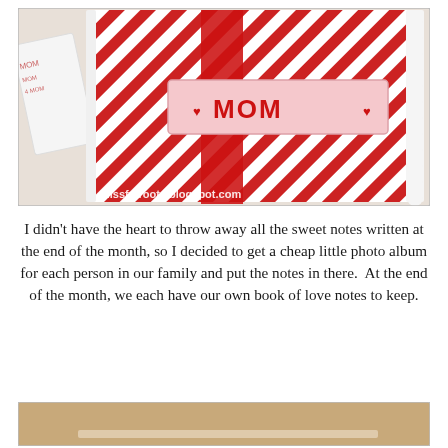[Figure (photo): A red and white striped scrapbook/photo album cover with a ribbon closure and a label reading 'MOM' with heart decorations. A handwritten note card is visible to the left. Watermark reads 'blissfulroots.blogspot.com'.]
I didn't have the heart to throw away all the sweet notes written at the end of the month, so I decided to get a cheap little photo album for each person in our family and put the notes in there.  At the end of the month, we each have our own book of love notes to keep.
[Figure (photo): Bottom portion of a light-colored book or album, partially visible at the bottom of the page.]